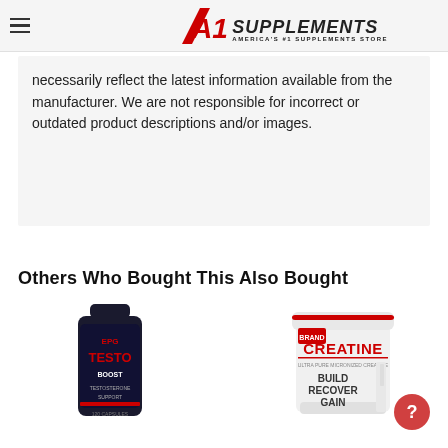A1 Supplements — America's #1 Supplements Store
necessarily reflect the latest information available from the manufacturer. We are not responsible for incorrect or outdated product descriptions and/or images.
Others Who Bought This Also Bought
[Figure (photo): EPG TestoBoost supplement bottle, dark container with label]
[Figure (photo): Creatine supplement tub, white container labeled CREATINE BUILD RECOVER GAIN]